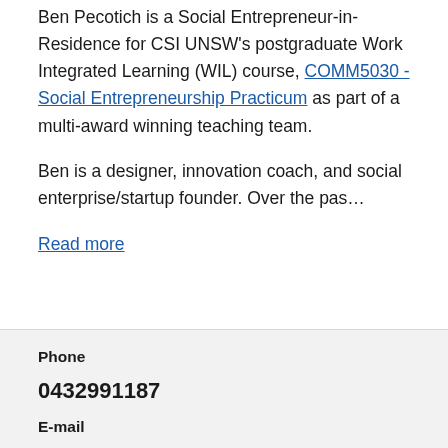Ben Pecotich is a Social Entrepreneur-in-Residence for CSI UNSW's postgraduate Work Integrated Learning (WIL) course, COMM5030 - Social Entrepreneurship Practicum as part of a multi-award winning teaching team.
Ben is a designer, innovation coach, and social enterprise/startup founder. Over the pas...
Read more
| Phone |  |
| --- | --- |
| 0432991187 |  |
| E-mail |  |